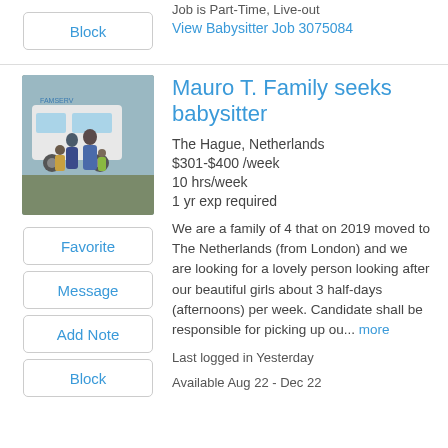Job is Part-Time, Live-out
View Babysitter Job 3075084
[Figure (photo): Family photo showing adults and children standing in front of a white van outdoors]
Mauro T. Family seeks babysitter
The Hague, Netherlands
$301-$400 /week
10 hrs/week
1 yr exp required
We are a family of 4 that on 2019 moved to The Netherlands (from London) and we are looking for a lovely person looking after our beautiful girls about 3 half-days (afternoons) per week. Candidate shall be responsible for picking up ou... more
Last logged in Yesterday
Available Aug 22 - Dec 22